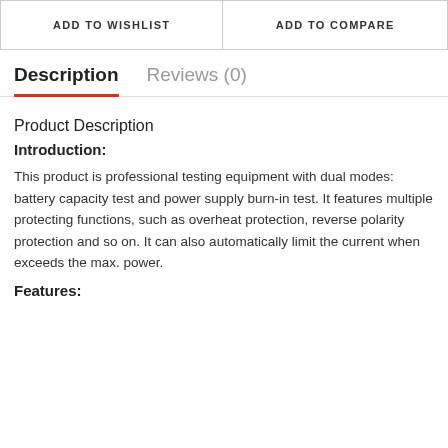| ADD TO WISHLIST | ADD TO COMPARE |
Description    Reviews (0)
Product Description
Introduction:
This product is professional testing equipment with dual modes: battery capacity test and power supply burn-in test. It features multiple protecting functions, such as overheat protection, reverse polarity protection and so on. It can also automatically limit the current when exceeds the max. power.
Features: